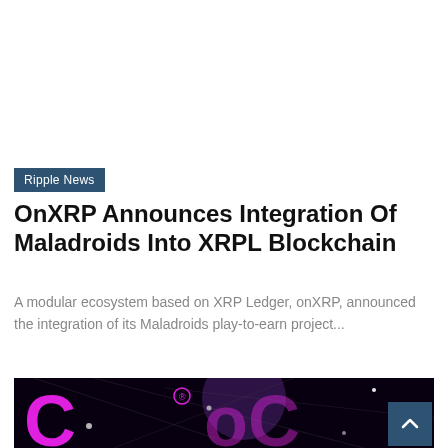Ripple News
OnXRP Announces Integration Of Maladroids Into XRPL Blockchain
A modular ecosystem based on XRP Ledger, onXRP, announced the integration of its Maladroids play-to-earn project...
[Figure (photo): Dark background image showing a globe with network lines and the CoinClaim(?) logo in large pink/magenta letters with a registered trademark symbol.]